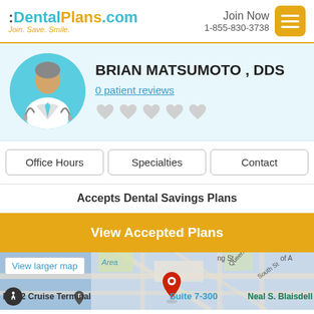:DentalPlans.com Join. Save. Smile. Join Now 1-855-830-3738
BRIAN MATSUMOTO , DDS
0 patient reviews
Office Hours | Specialties | Contact
Accepts Dental Savings Plans
View Accepted Plans
[Figure (map): Google map showing location near Pier 2 Cruise Terminal with a red pin marker at Suite 7-300 and Neal S. Blaisdell nearby. A 'View larger map' button is shown in the top-left corner.]